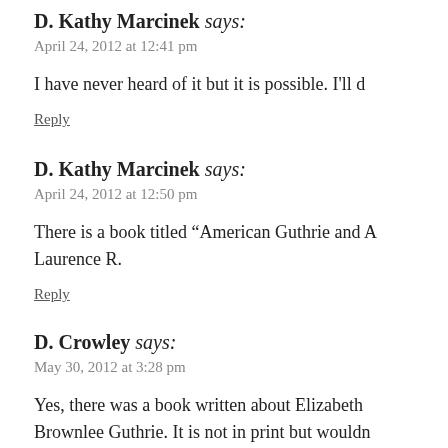D. Kathy Marcinek says:
April 24, 2012 at 12:41 pm
I have never heard of it but it is possible. I'll d
Reply
D. Kathy Marcinek says:
April 24, 2012 at 12:50 pm
There is a book titled “American Guthrie and A Laurence R.
Reply
D. Crowley says:
May 30, 2012 at 3:28 pm
Yes, there was a book written about Elizabeth Brownlee Guthrie. It is not in print but wouldn in someone's attic in Pennsylvania. Elizabeth G